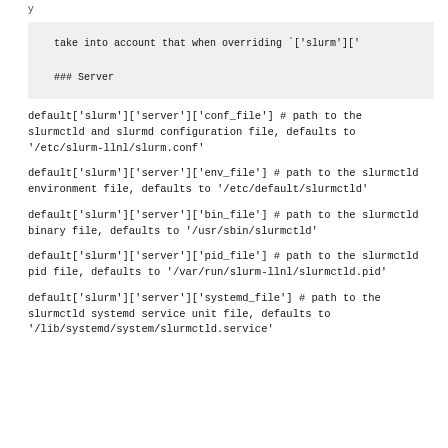y
[Figure (screenshot): Code block with monospace text showing: 'take into account that when overriding `[\'slurm\'][\'` and ### Server heading]
default['slurm']['server']['conf_file'] # path to the slurmctld and slurmd configuration file, defaults to '/etc/slurm-llnl/slurm.conf'
default['slurm']['server']['env_file'] # path to the slurmctld environment file, defaults to '/etc/default/slurmctld'
default['slurm']['server']['bin_file'] # path to the slurmctld binary file, defaults to '/usr/sbin/slurmctld'
default['slurm']['server']['pid_file'] # path to the slurmctld pid file, defaults to '/var/run/slurm-llnl/slurmctld.pid'
default['slurm']['server']['systemd_file'] # path to the slurmctld systemd service unit file, defaults to '/lib/systemd/system/slurmctld.service'